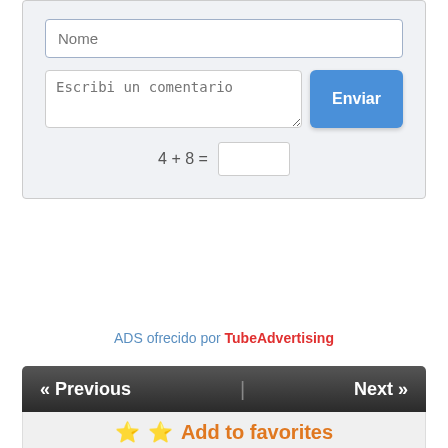[Figure (screenshot): Web form with name input field, comment textarea, Enviar (Send) button, and a CAPTCHA math question (4 + 8 =)]
ADS ofrecido por TubeAdvertising
« Previous | Next »
⭐ Add to favorites
2 views